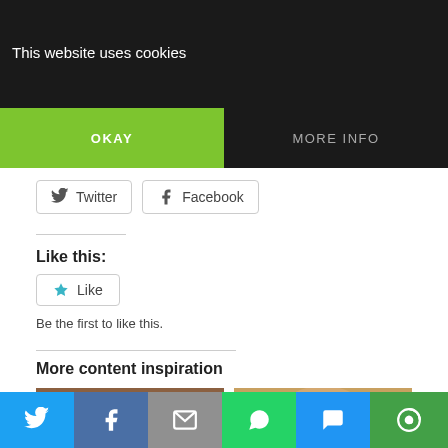This website uses cookies
OKAY
MORE INFO
Twitter
Facebook
Like this:
Like
Be the first to like this.
More content inspiration
[Figure (photo): Book cover: Portraits by Pam Carriker, showing illustrated faces]
[Figure (photo): Close-up painted portrait of a bald figure with blue eyes]
Twitter | Facebook | Email | WhatsApp | SMS | More